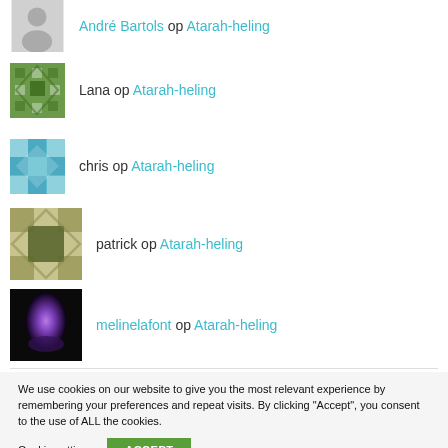André Bartols op Atarah-heling
Lana op Atarah-heling
chris op Atarah-heling
patrick op Atarah-heling
melinelafont op Atarah-heling
We use cookies on our website to give you the most relevant experience by remembering your preferences and repeat visits. By clicking "Accept", you consent to the use of ALL the cookies.
Cookie settings | ACCEPT